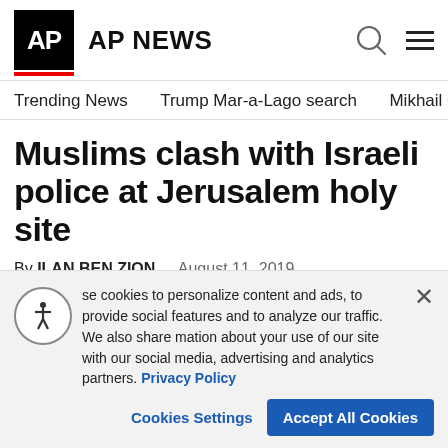AP | AP NEWS
Trending News   Trump Mar-a-Lago search   Mikhail Gorbachev d
Muslims clash with Israeli police at Jerusalem holy site
By ILAN BEN ZION   August 11, 2019
[Figure (screenshot): Partial image strip at bottom of article area]
se cookies to personalize content and ads, to provide social features and to analyze our traffic. We also share mation about your use of our site with our social media, advertising and analytics partners. Privacy Policy
Cookies Settings   Accept All Cookies